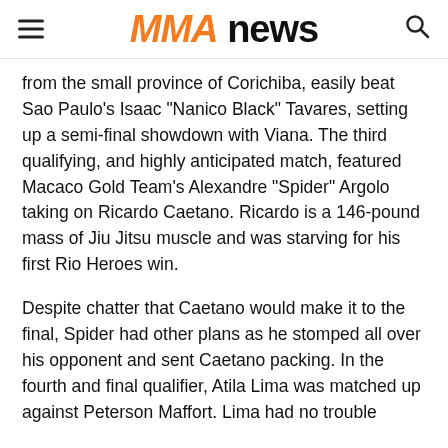MMA NEWS
from the small province of Corichiba, easily beat Sao Paulo’s Isaac “Nanico Black” Tavares, setting up a semi-final showdown with Viana. The third qualifying, and highly anticipated match, featured Macaco Gold Team’s Alexandre “Spider” Argolo taking on Ricardo Caetano. Ricardo is a 146-pound mass of Jiu Jitsu muscle and was starving for his first Rio Heroes win.
Despite chatter that Caetano would make it to the final, Spider had other plans as he stomped all over his opponent and sent Caetano packing. In the fourth and final qualifier, Atila Lima was matched up against Peterson Maffort. Lima had no trouble